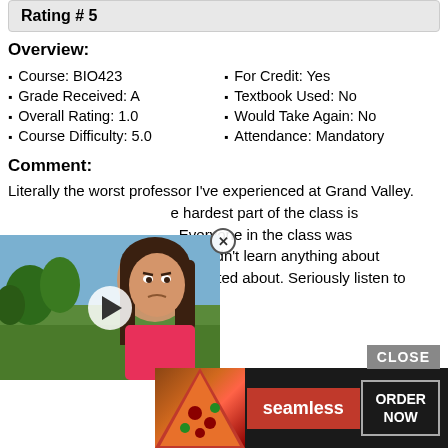Rating # 5
Overview:
Course: BIO423
Grade Received: A
Overall Rating: 1.0
Course Difficulty: 5.0
For Credit: Yes
Textbook Used: No
Would Take Again: No
Attendance: Mandatory
Comment:
Literally the worst professor I've experienced at Grand Valley. e hardest part of the class is . Everyone in the class was hat I didn't learn anything about as excited about. Seriously listen to s class
[Figure (screenshot): Video overlay showing a girl with a play button, partially obscuring the comment text]
Rating # 6
Overview:
Cou...
Gra...
[Figure (screenshot): Advertisement overlay for Seamless food ordering with pizza image, CLOSE button, and ORDER NOW button]